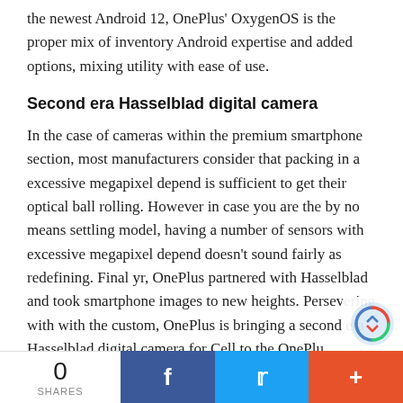the newest Android 12, OnePlus' OxygenOS is the proper mix of inventory Android expertise and added options, mixing utility with ease of use.
Second era Hasselblad digital camera
In the case of cameras within the premium smartphone section, most manufacturers consider that packing in a excessive megapixel depend is sufficient to get their optical ball rolling. However in case you are the by no means settling model, having a number of sensors with excessive megapixel depend doesn't sound fairly as redefining. Final yr, OnePlus partnered with Hasselblad and took smartphone images to new heights. Persevering with with the custom, OnePlus is bringing a second era Hasselblad digital camera for Cell to the OnePlu